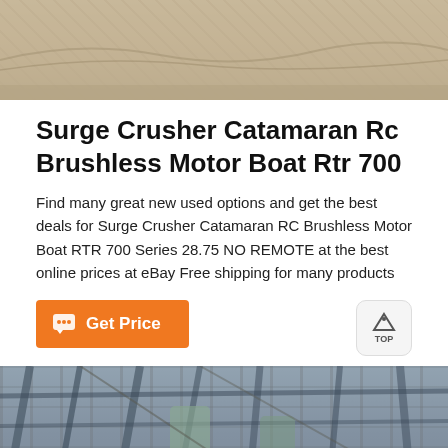[Figure (photo): Top portion of an outdoor sandy/dusty terrain photo, partially cropped]
Surge Crusher Catamaran Rc Brushless Motor Boat Rtr 700
Find many great new used options and get the best deals for Surge Crusher Catamaran RC Brushless Motor Boat RTR 700 Series 28.75 NO REMOTE at the best online prices at eBay Free shipping for many products
[Figure (photo): Interior of an industrial facility or crusher plant showing metal structures, beams and machinery]
Get Price
Message
Online Chat